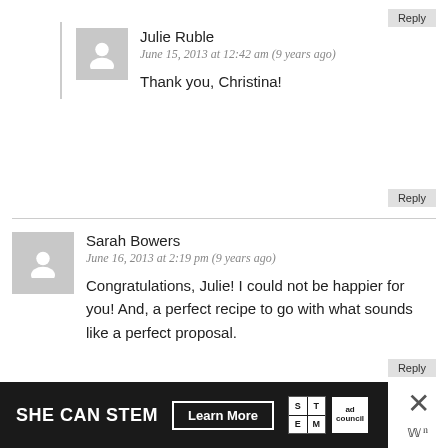Reply
Julie Ruble
June 15, 2013 at 12:42 am (9 years ago)
Thank you, Christina!
Reply
Sarah Bowers
June 16, 2013 at 2:19 pm (9 years ago)
Congratulations, Julie! I could not be happier for you! And, a perfect recipe to go with what sounds like a perfect proposal.
Reply
Julie Ruble
June 17, 2013 at 1:37 am (9 years ago)
[Figure (infographic): SHE CAN STEM advertisement banner with Learn More button, STEM grid logo, and Ad Council logo]